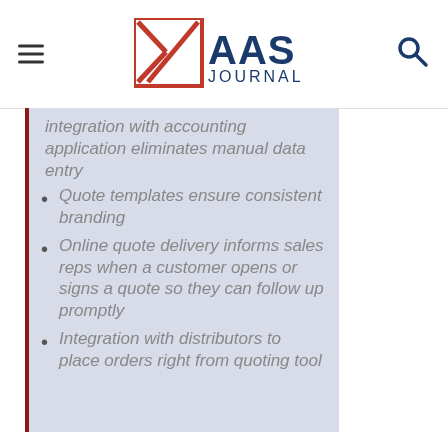XAAS JOURNAL
integration with accounting application eliminates manual data entry
Quote templates ensure consistent branding
Online quote delivery informs sales reps when a customer opens or signs a quote so they can follow up promptly
Integration with distributors to place orders right from quoting tool